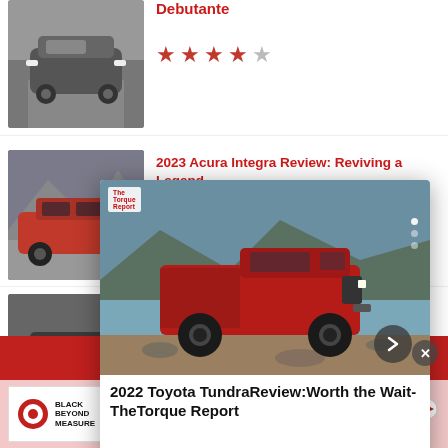Debutante
[Figure (photo): Gray SUV (Lexus LX) driving on road]
[Figure (other): 4 out of 5 star rating]
2023 Acura Integra Review: Reviving a Legend
[Figure (photo): Red Acura Integra on mountain road]
[Figure (other): Star rating]
20... Be...
[Figure (photo): Dark SUV]
[Figure (screenshot): Overlay card: 2022 Toyota Tundra Review hero image with red truck near lake, TheTorque Report logo, navigation arrow, and caption '2022 Toyota TundraReview:Worth the Wait-TheTorque Report']
News   Reviews
[Figure (photo): Target Black Beyond Measure advertisement: Investing in ourselves, makes us all shine. Learn more.]